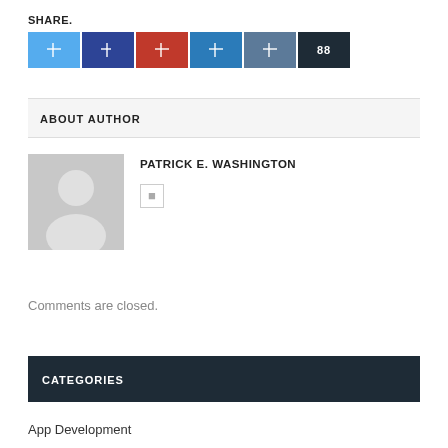SHARE.
[Figure (other): Six social share buttons: Twitter (light blue), Facebook (dark blue), Pinterest (red), LinkedIn (medium blue), Tumblr (steel blue), extra/counter (dark navy with '88')]
ABOUT AUTHOR
[Figure (photo): Generic user avatar placeholder: gray square with white silhouette of a person]
PATRICK E. WASHINGTON
Comments are closed.
CATEGORIES
App Development